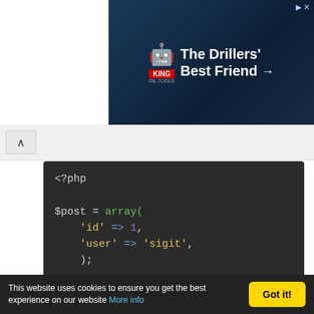[Figure (photo): King Oil Tools advertisement banner: 'The Drillers' Best Friend →' with robot/drill image and King logo on dark blue background]
[Figure (screenshot): Browser navigation bar with up/chevron button]
<?php

$post = array(
    'id' => 1,
    'user' => 'sigit',
    );

$data = json_encode($post);

$ch = curl_init('http://localhost/slimAPI/p
curl_setopt($ch, CURLOPT_RETURNTRANSFER,
This website uses cookies to ensure you get the best experience on our website More info  Got it!